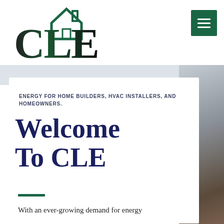[Figure (logo): CLE company logo with house icon above bold stylized 'CLE' text in dark green/black gradient]
[Figure (other): Green hamburger menu button (three horizontal white lines on green background)]
ENERGY FOR HOME BUILDERS, HVAC INSTALLERS, AND HOMEOWNERS.
Welcome To CLE
With an ever-growing demand for energy